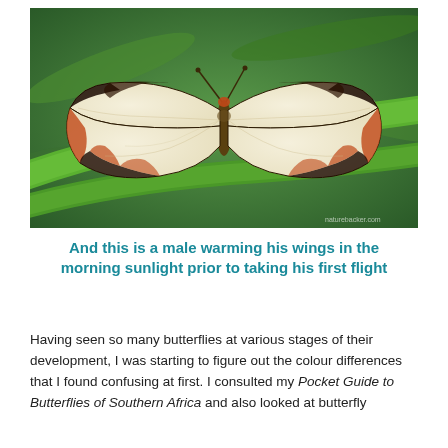[Figure (photo): Close-up photograph of a butterfly with white wings edged in black and brown/orange markings, resting on a green leaf blade. Watermark reads 'naturebacker.com' in lower right corner.]
And this is a male warming his wings in the morning sunlight prior to taking his first flight
Having seen so many butterflies at various stages of their development, I was starting to figure out the colour differences that I found confusing at first. I consulted my Pocket Guide to Butterflies of Southern Africa and also looked at butterfly